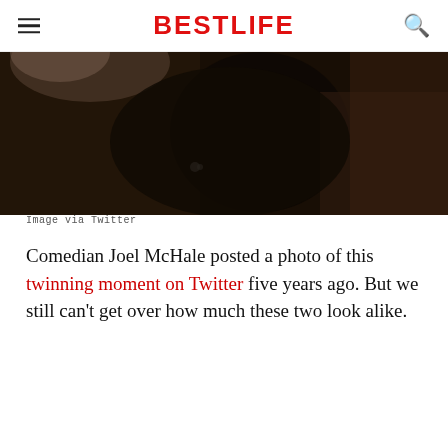BestLife
[Figure (photo): Dark photograph showing what appears to be a person or animal in a dark setting, partially cropped at top of page.]
Image via Twitter
Comedian Joel McHale posted a photo of this twinning moment on Twitter five years ago. But we still can't get over how much these two look alike.